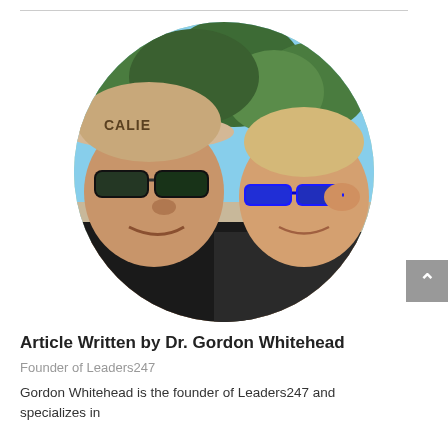[Figure (photo): Circular cropped photo of a man wearing a tan baseball cap with 'CALIBER' text and dark sunglasses, with a young child in front wearing blue-framed sunglasses, taken outdoors with trees and sky in background]
Article Written by Dr. Gordon Whitehead
Founder of Leaders247
Gordon Whitehead is the founder of Leaders247 and specializes in